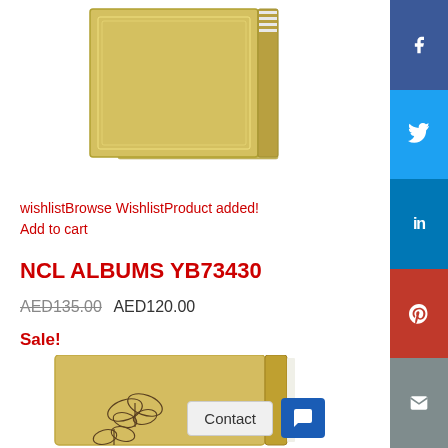[Figure (photo): Gold/yellow photo album product image shown from the top/side angle]
wishlistBrowse WishlistProduct added!
Add to cart
NCL ALBUMS YB73430
AED135.00 AED120.00
Sale!
[Figure (photo): Gold/yellow photo album product image shown from the front with butterfly decorations]
Contact